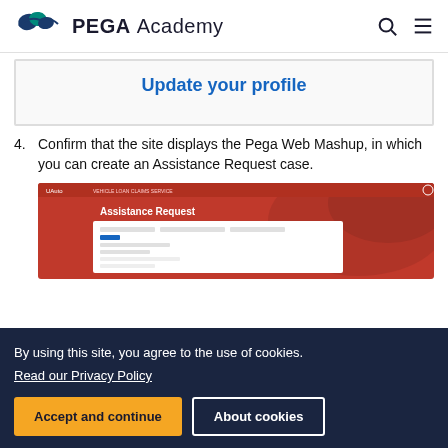PEGA Academy
Update your profile
4. Confirm that the site displays the Pega Web Mashup, in which you can create an Assistance Request case.
[Figure (screenshot): Screenshot of a web page showing a U-Auto branded Assistance Request form with a red car background and a white form overlay with fields for assistance request details.]
By using this site, you agree to the use of cookies.
Read our Privacy Policy
Accept and continue
About cookies